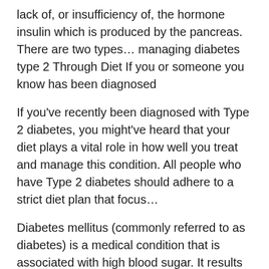lack of, or insufficiency of, the hormone insulin which is produced by the pancreas. There are two types… managing diabetes type 2 Through Diet If you or someone you know has been diagnosed
If you've recently been diagnosed with Type 2 diabetes, you might've heard that your diet plays a vital role in how well you treat and manage this condition. All people who have Type 2 diabetes should adhere to a strict diet plan that focus…
Diabetes mellitus (commonly referred to as diabetes) is a medical condition that is associated with high blood sugar. It results from a lack of, or insufficiency of, the hormone insulin which is produced by the pancreas. There are two types…
If you or someone you know has been diagnosed with type 2 diabetes, it's time to get the facts. knowing basic facts and common treatments for type 2 diabetes will empower you to